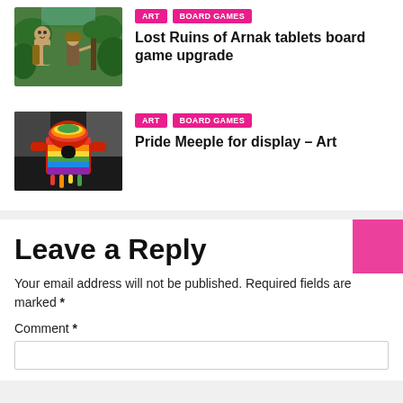[Figure (illustration): Illustration of two adventurers running in a jungle setting (Lost Ruins of Arnak board game art)]
ART
BOARD GAMES
Lost Ruins of Arnak tablets board game upgrade
[Figure (photo): Photo of a rainbow pride-colored meeple figure dripping paint]
ART
BOARD GAMES
Pride Meeple for display – Art
Leave a Reply
Your email address will not be published. Required fields are marked *
Comment *